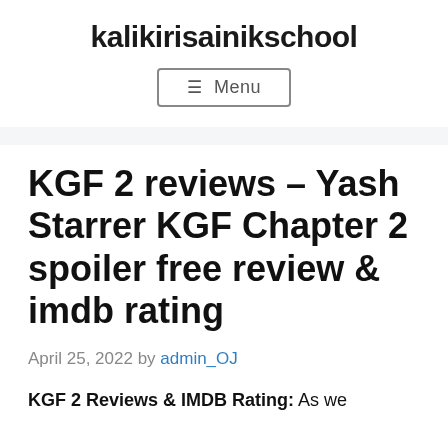kalikirisainikschool
≡ Menu
KGF 2 reviews – Yash Starrer KGF Chapter 2 spoiler free review & imdb rating
April 25, 2022 by admin_OJ
KGF 2 Reviews & IMDB Rating: As we